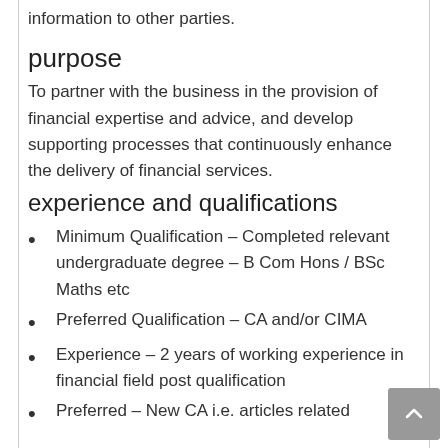information to other parties.
purpose
To partner with the business in the provision of financial expertise and advice, and develop supporting processes that continuously enhance the delivery of financial services.
experience and qualifications
Minimum Qualification – Completed relevant undergraduate degree – B Com Hons / BSc Maths etc
Preferred Qualification – CA and/or CIMA
Experience – 2 years of working experience in financial field post qualification
Preferred – New CA i.e. articles related